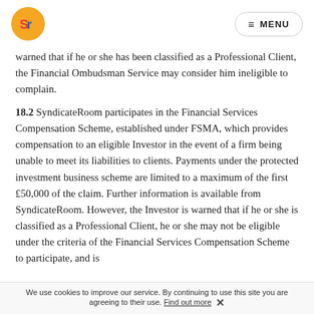SN logo | MENU
warned that if he or she has been classified as a Professional Client, the Financial Ombudsman Service may consider him ineligible to complain.
18.2 SyndicateRoom participates in the Financial Services Compensation Scheme, established under FSMA, which provides compensation to an eligible Investor in the event of a firm being unable to meet its liabilities to clients. Payments under the protected investment business scheme are limited to a maximum of the first £50,000 of the claim. Further information is available from SyndicateRoom. However, the Investor is warned that if he or she is classified as a Professional Client, he or she may not be eligible under the criteria of the Financial Services Compensation Scheme to participate, and is
We use cookies to improve our service. By continuing to use this site you are agreeing to their use. Find out more ✕